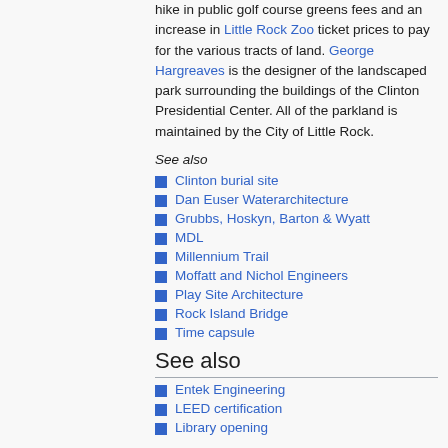hike in public golf course greens fees and an increase in Little Rock Zoo ticket prices to pay for the various tracts of land. George Hargreaves is the designer of the landscaped park surrounding the buildings of the Clinton Presidential Center. All of the parkland is maintained by the City of Little Rock.
See also
Clinton burial site
Dan Euser Waterarchitecture
Grubbs, Hoskyn, Barton & Wyatt
MDL
Millennium Trail
Moffatt and Nichol Engineers
Play Site Architecture
Rock Island Bridge
Time capsule
See also
Entek Engineering
LEED certification
Library opening